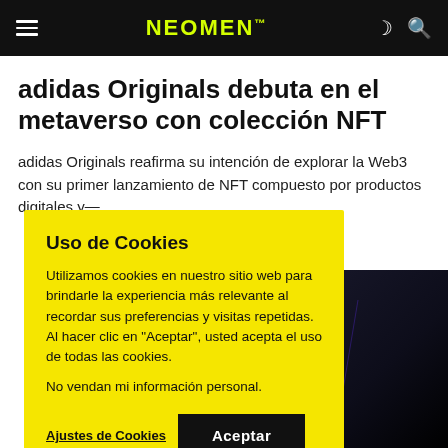NEOMEN
adidas Originals debuta en el metaverso con colección NFT
adidas Originals reafirma su intención de explorar la Web3 con su primer lanzamiento de NFT compuesto por productos digitales y...
[Figure (photo): Dark background photo with light streaks, related to adidas Originals metaverse/NFT article]
Uso de Cookies
Utilizamos cookies en nuestro sitio web para brindarle la experiencia más relevante al recordar sus preferencias y visitas repetidas. Al hacer clic en "Aceptar", usted acepta el uso de todas las cookies.
No vendan mi información personal.
Ajustes de Cookies | Aceptar